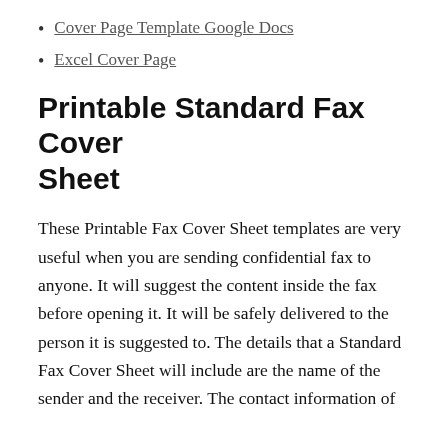Cover Page Template Google Docs
Excel Cover Page
Printable Standard Fax Cover Sheet
These Printable Fax Cover Sheet templates are very useful when you are sending confidential fax to anyone. It will suggest the content inside the fax before opening it. It will be safely delivered to the person it is suggested to. The details that a Standard Fax Cover Sheet will include are the name of the sender and the receiver. The contact information of